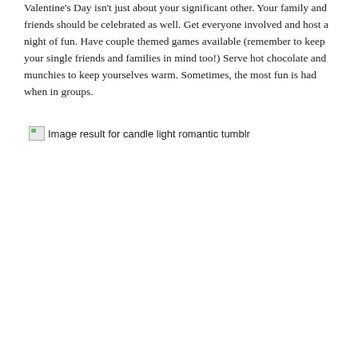Valentine's Day isn't just about your significant other. Your family and friends should be celebrated as well. Get everyone involved and host a night of fun. Have couple themed games available (remember to keep your single friends and families in mind too!) Serve hot chocolate and munchies to keep yourselves warm. Sometimes, the most fun is had when in groups.
[Figure (other): Broken image placeholder with alt text: Image result for candle light romantic tumblr]